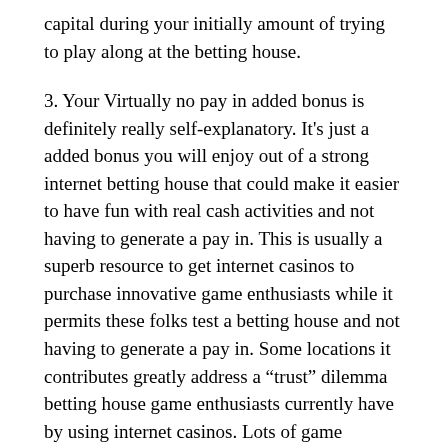capital during your initially amount of trying to play along at the betting house.
3. Your Virtually no pay in added bonus is definitely really self-explanatory. It’s just a added bonus you will enjoy out of a strong internet betting house that could make it easier to have fun with real cash activities and not having to generate a pay in. This is usually a superb resource to get internet casinos to purchase innovative game enthusiasts while it permits these folks test a betting house and not having to generate a pay in. Some locations it contributes greatly address a “trust” dilemma betting house game enthusiasts currently have by using internet casinos. Lots of game enthusiasts who seem to feel adding plus trying to play during a person internet betting house might be suspicious if trying out a differnt one they have got under no circumstances gamed during. Alternative game